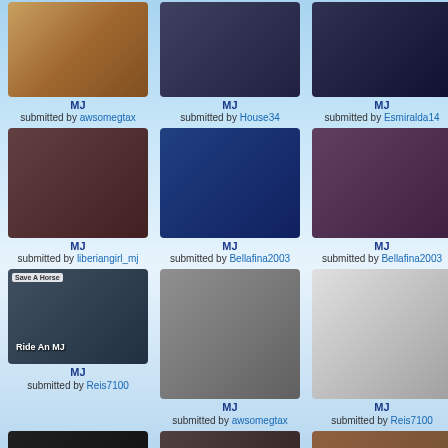[Figure (photo): Photo of MJ submitted by awsomegtax]
MJ
submitted by awsomegtax
[Figure (photo): Photo of MJ submitted by House34]
MJ
submitted by House34
[Figure (photo): Photo of MJ submitted by Esmiralda14]
MJ
submitted by Esmiralda14
[Figure (photo): Photo of MJ submitted by liberiangirl_mj]
MJ
submitted by liberiangirl_mj
[Figure (photo): Photo of MJ submitted by Bellafina2003]
MJ
submitted by Bellafina2003
[Figure (photo): Photo of MJ submitted by Bellafina2003]
MJ
submitted by Bellafina2003
[Figure (photo): Meme photo: Save A Horse Ride An MJ, submitted by Reis7100]
MJ
submitted by Reis7100
[Figure (photo): Black and white portrait of MJ submitted by awsomegtax]
MJ
submitted by awsomegtax
[Figure (photo): Silhouette dance photo of MJ submitted by Reis7100]
MJ
submitted by Reis7100
[Figure (photo): Photo partially visible, MJ bottom row left]
[Figure (photo): MJ amazing USA Africa group photo submitted by paloma97nek]
MJ amazing
submitted by paloma97nek
[Figure (photo): Photo of MJ, right column bottom]